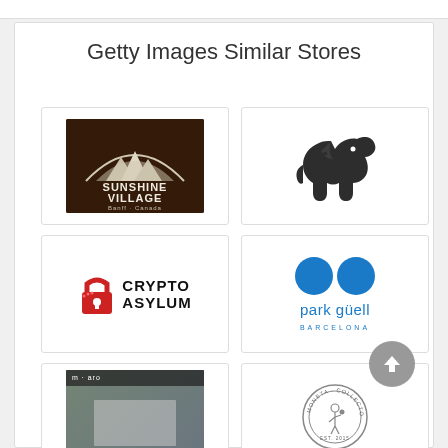Getty Images Similar Stores
[Figure (logo): Sunshine Village Banff Canada logo on dark wood background]
[Figure (logo): Dark elephant silhouette logo]
[Figure (logo): Crypto Asylum logo with red padlock icon]
[Figure (logo): Park Guell Barcelona logo with two blue circles]
[Figure (logo): m-aro store card with blurred background]
[Figure (logo): Moneta circular stamp/seal logo]